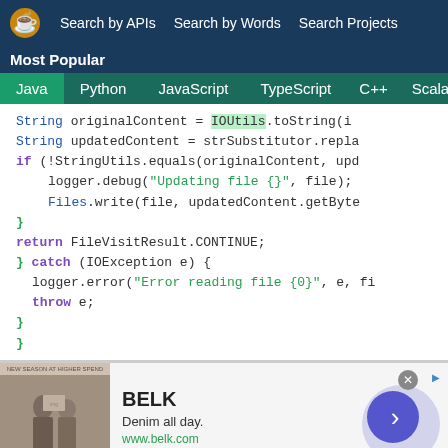Search by APIs  Search by Words  Search Projects
Most Popular
Java  Python  JavaScript  TypeScript  C++  Scala
[Figure (screenshot): Java code snippet showing string content replacement with IOUtils, StringUtils, logger debug/error, Files.write, FileVisitResult, catch IOException block]
[Figure (other): BELK advertisement banner: 'Denim all day. www.belk.com' with fashion photo and arrow button]